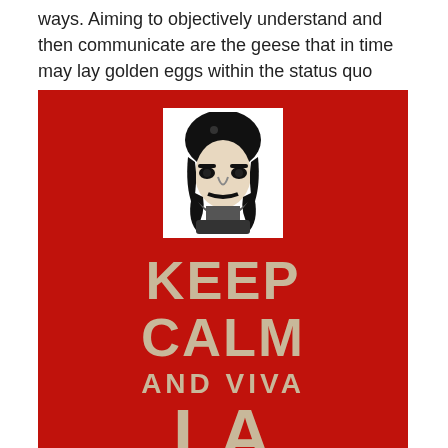ways. Aiming to objectively understand and then communicate are the geese that in time may lay golden eggs within the status quo disequilibrium.
[Figure (illustration): A red 'Keep Calm and Viva La...' poster styled image featuring a black and white portrait of Che Guevara at the top center, with large beige/tan bold uppercase text reading 'KEEP CALM AND VIVA LA' and partially visible bottom text, all on a deep red background.]